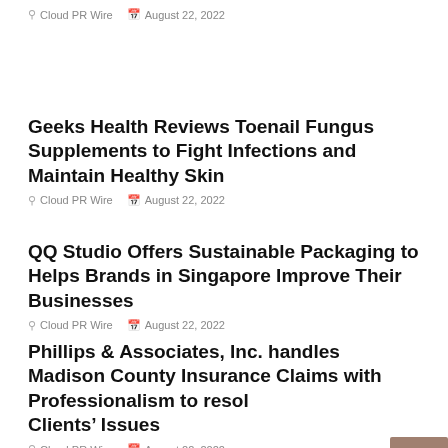Cloud PR Wire   August 22, 2022
Geeks Health Reviews Toenail Fungus Supplements to Fight Infections and Maintain Healthy Skin
Cloud PR Wire   August 22, 2022
QQ Studio Offers Sustainable Packaging to Helps Brands in Singapore Improve Their Businesses
Cloud PR Wire   August 22, 2022
Phillips & Associates, Inc. handles Madison County Insurance Claims with Professionalism to resolve Clients' Issues
Cloud PR Wire   August 22, 2022